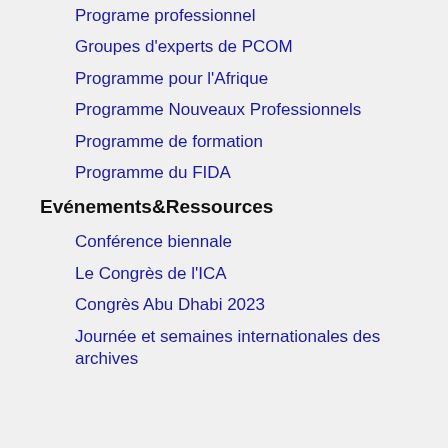Programe professionnel
Groupes d'experts de PCOM
Programme pour l'Afrique
Programme Nouveaux Professionnels
Programme de formation
Programme du FIDA
Evénements&Ressources
Conférence biennale
Le Congrès de l'ICA
Congrès Abu Dhabi 2023
Journée et semaines internationales des archives